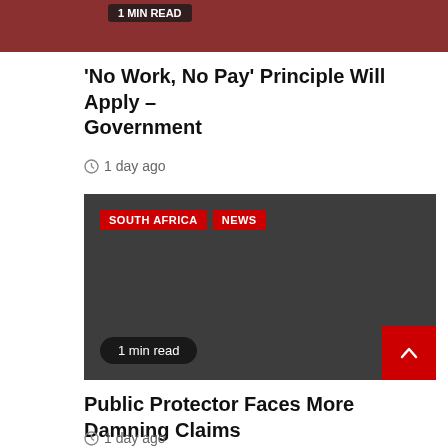[Figure (photo): Partial top image of article thumbnail with red/warm tones, cropped at top of page]
'No Work, No Pay' Principle Will Apply – Government
1 day ago
[Figure (photo): Dark grey placeholder image card with SOUTH AFRICA and NEWS category tags, and a '1 min read' badge]
Public Protector Faces More Damning Claims
1 day ago